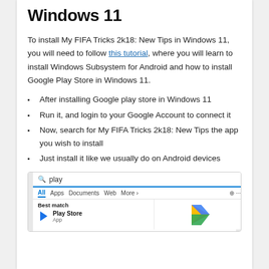Windows 11
To install My FIFA Tricks 2k18: New Tips in Windows 11, you will need to follow this tutorial, where you will learn to install Windows Subsystem for Android and how to install Google Play Store in Windows 11.
After installing Google play store in Windows 11
Run it, and login to your Google Account to connect it
Now, search for My FIFA Tricks 2k18: New Tips the app you wish to install
Just install it like we usually do on Android devices
[Figure (screenshot): Windows 11 search interface showing 'play' typed in the search bar, with tabs for All, Apps, Documents, Web, More+, and a Best match result showing Play Store app with the Google Play logo on the right side.]